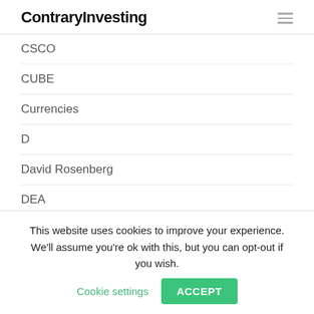ContraryInvesting
CSCO
CUBE
Currencies
D
David Rosenberg
DEA
Deflation
Dennis Gartman
DIA
This website uses cookies to improve your experience. We'll assume you're ok with this, but you can opt-out if you wish.
Cookie settings
ACCEPT